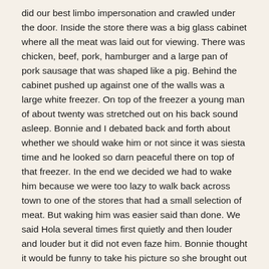did our best limbo impersonation and crawled under the door. Inside the store there was a big glass cabinet where all the meat was laid out for viewing. There was chicken, beef, pork, hamburger and a large pan of pork sausage that was shaped like a pig. Behind the cabinet pushed up against one of the walls was a large white freezer. On top of the freezer a young man of about twenty was stretched out on his back sound asleep. Bonnie and I debated back and forth about whether we should wake him or not since it was siesta time and he looked so darn peaceful there on top of that freezer. In the end we decided we had to wake him because we were too lazy to walk back across town to one of the stores that had a small selection of meat. But waking him was easier said than done. We said Hola several times first quietly and then louder and louder but it did not even faze him. Bonnie thought it would be funny to take his picture so she brought out the camera and took a couple of shots. Finally a boy that was in the back saw us standing there. He came out and nudged sleeping beauty on the fridge. He woke up saw us standing there and jumped up apologizing emphatically. We had a good laugh and showed him the picture Bonnie took of him. He was